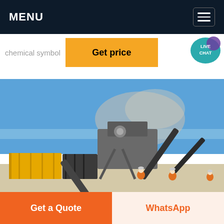MENU
chemical symbol
Get price
LIVE CHAT
[Figure (photo): Industrial mining/crushing plant in operation outdoors. Large conveyor belt machinery with dust cloud, yellow shipping containers on left, two workers in orange hi-vis vests and hard hats in the foreground on sandy ground, blue sky background.]
Get a Quote
WhatsApp